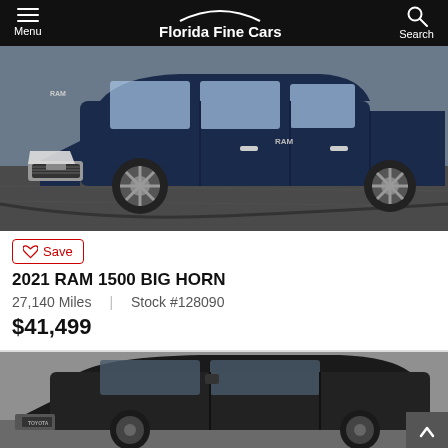Florida Fine Cars
[Figure (photo): Blue 2021 RAM 1500 Big Horn pickup truck on a photography turntable in a showroom, side/front three-quarter view]
Save
2021 RAM 1500 BIG HORN
27,140 Miles | Stock #128090
$41,499
[Figure (photo): Black pickup truck (partial view, second listing) on showroom floor, front three-quarter view]